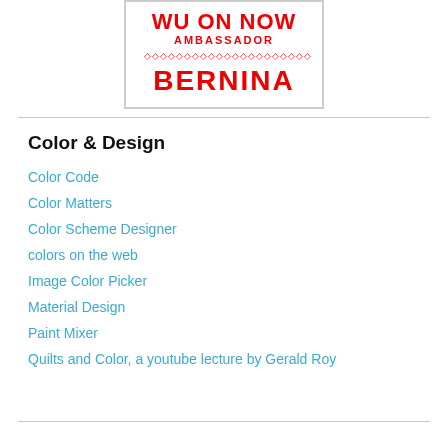[Figure (logo): BERNINA Ambassador logo with 'WU on now' text, diamond decorative border, and BERNINA brand name in red]
Color & Design
Color Code
Color Matters
Color Scheme Designer
colors on the web
Image Color Picker
Material Design
Paint Mixer
Quilts and Color, a youtube lecture by Gerald Roy